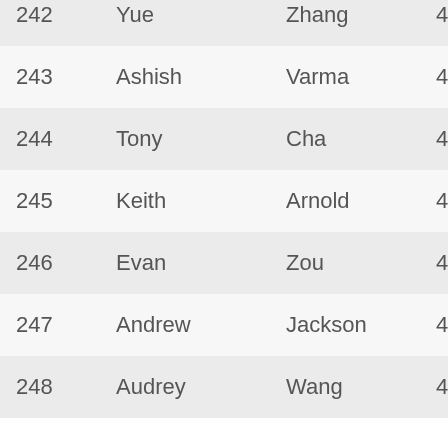| # | First | Last | Rank |
| --- | --- | --- | --- |
| 242 | Yue | Zhang | 4 dan |
| 243 | Ashish | Varma | 4 dan |
| 244 | Tony | Cha | 4 dan |
| 245 | Keith | Arnold | 4 dan |
| 246 | Evan | Zou | 4 dan |
| 247 | Andrew | Jackson | 4 dan |
| 248 | Audrey | Wang | 4 dan |